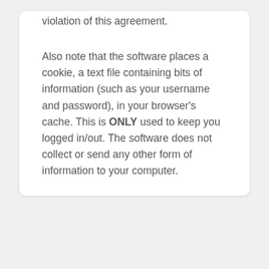violation of this agreement.
Also note that the software places a cookie, a text file containing bits of information (such as your username and password), in your browser's cache. This is ONLY used to keep you logged in/out. The software does not collect or send any other form of information to your computer.